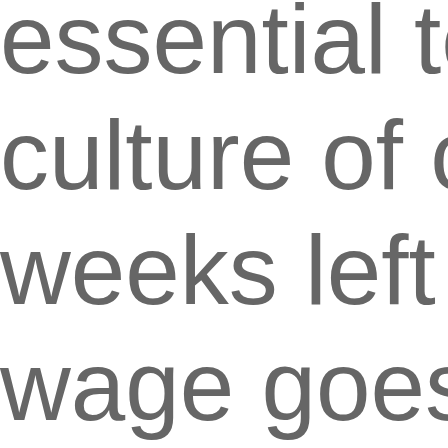essential to an culture of comp weeks left to go wage goes up, are planning fo Commissioner insures, which i